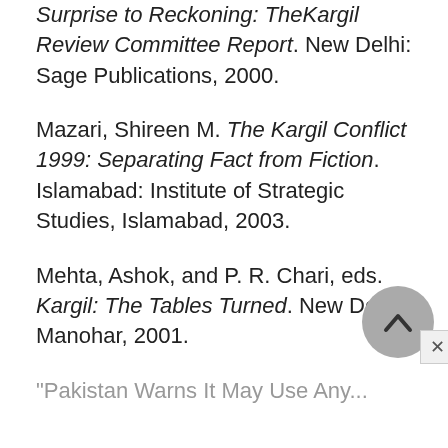Surprise to Reckoning: TheKargil Review Committee Report. New Delhi: Sage Publications, 2000.
Mazari, Shireen M. The Kargil Conflict 1999: Separating Fact from Fiction. Islamabad: Institute of Strategic Studies, Islamabad, 2003.
Mehta, Ashok, and P. R. Chari, eds. Kargil: The Tables Turned. New Delhi: Manohar, 2001.
"Pakistan Warns It May Use Any...